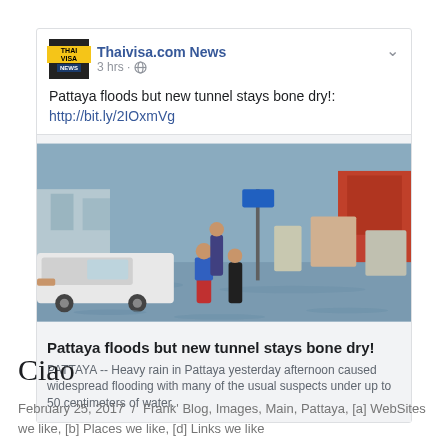[Figure (screenshot): Facebook post from Thaivisa.com News showing a flooded street in Pattaya with people pushing a car through floodwaters. The post reads: Pattaya floods but new tunnel stays bone dry! http://bit.ly/2IOxmVg. The article preview shows title 'Pattaya floods but new tunnel stays bone dry!' and description 'PATTAYA -- Heavy rain in Pattaya yesterday afternoon caused widespread flooding with many of the usual suspects under up to 50 centimeters of water.']
Ciao
February 25, 2017  /  Frank' Blog, Images, Main, Pattaya, [a] WebSites we like, [b] Places we like, [d] Links we like